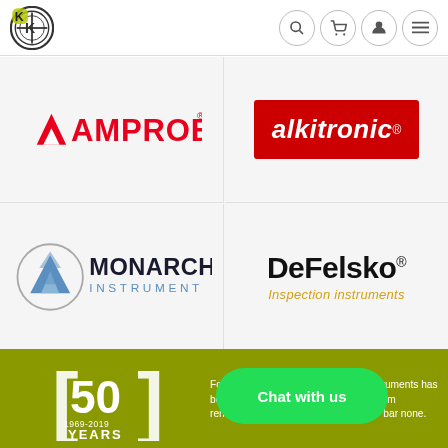Kingsway Instruments website header with logo and nav icons (search, cart, account, menu)
[Figure (logo): Amprobe logo with red triangle/mountain icon and red text AMPROBE with registered trademark symbol]
[Figure (logo): alkitronic logo in white italic text on red background with registered trademark symbol]
[Figure (logo): Monarch Instrument logo with blue mountain/arrow graphic and bold dark text MONARCH INSTRUMENT]
[Figure (logo): DeFelsko Inspection Instruments logo with bold black text DeFelsko and registered mark, orange text Inspection instruments below]
[Figure (logo): 50 years badge [50] 1969-2019 YEARS in white brackets on olive/khaki green background]
For more than 50 years Kingsway Instruments has been [Chat with us overlay obscures text] trusted source for test equipm... rentals and the fastes... turnarounds — bar none.